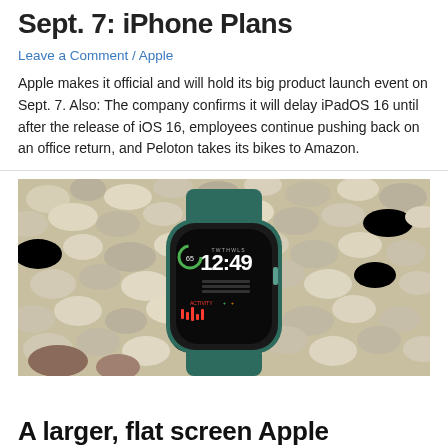Sept. 7: iPhone Plans
Leave a Comment / Apple
Apple makes it official and will hold its big product launch event on Sept. 7. Also: The company confirms it will delay iPadOS 16 until after the release of iOS 16, employees continue pushing back on an office return, and Peloton takes its bikes to Amazon.
[Figure (photo): An Apple Watch with a green band resting on a bed of pebbles and small rocks. The watch face shows the time 12:49 and various fitness/activity complications.]
A larger, flat screen Apple